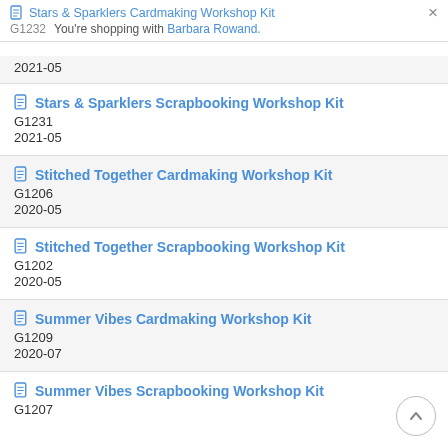Stars & Sparklers Cardmaking Workshop Kit — G1232 — You're shopping with Barbara Rowand. ×
2021-05
Stars & Sparklers Scrapbooking Workshop Kit
G1231
2021-05
Stitched Together Cardmaking Workshop Kit
G1206
2020-05
Stitched Together Scrapbooking Workshop Kit
G1202
2020-05
Summer Vibes Cardmaking Workshop Kit
G1209
2020-07
Summer Vibes Scrapbooking Workshop Kit
G1207